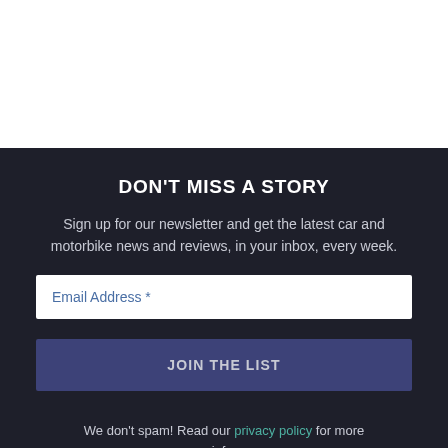DON'T MISS A STORY
Sign up for our newsletter and get the latest car and motorbike news and reviews, in your inbox, every week.
Email Address *
JOIN THE LIST
We don't spam! Read our privacy policy for more info.